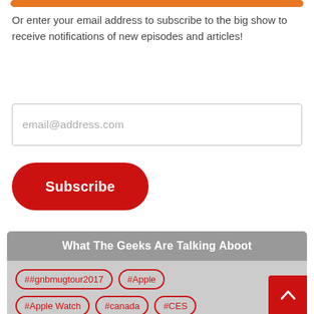[Figure (other): Orange rounded bar at the top of the page]
Or enter your email address to subscribe to the big show to receive notifications of new episodes and articles!
[Figure (other): Email input field with placeholder text email@address.com]
[Figure (other): Red rounded Subscribe button]
What The Geeks Are Talking Aboot
##gnbmugtour2017
#Apple
#Apple Watch
#canada
#CES
#Copyright
#David Bowie
#Elvis Presley
#Facebook
#FCC
#Foo Fighters
#Google
#Gord Downie
#headphones